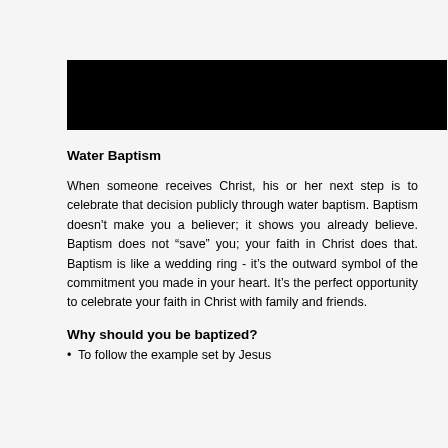[Figure (other): Black rectangular bar/banner at the top of the page]
Water Baptism
When someone receives Christ, his or her next step is to celebrate that decision publicly through water baptism. Baptism doesn't make you a believer; it shows you already believe. Baptism does not “save” you; your faith in Christ does that. Baptism is like a wedding ring - it’s the outward symbol of the commitment you made in your heart. It’s the perfect opportunity to celebrate your faith in Christ with family and friends.
Why should you be baptized?
•  To follow the example set by Jesus